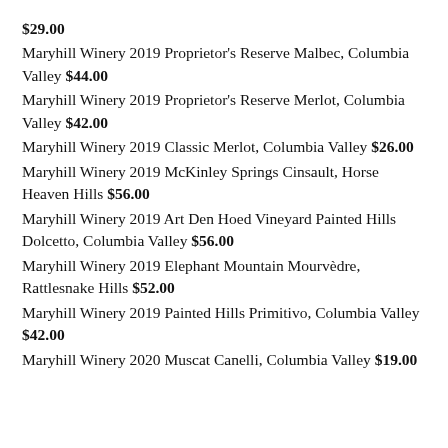$29.00
Maryhill Winery 2019 Proprietor's Reserve Malbec, Columbia Valley $44.00
Maryhill Winery 2019 Proprietor's Reserve Merlot, Columbia Valley $42.00
Maryhill Winery 2019 Classic Merlot, Columbia Valley $26.00
Maryhill Winery 2019 McKinley Springs Cinsault, Horse Heaven Hills $56.00
Maryhill Winery 2019 Art Den Hoed Vineyard Painted Hills Dolcetto, Columbia Valley $56.00
Maryhill Winery 2019 Elephant Mountain Mourvèdre, Rattlesnake Hills $52.00
Maryhill Winery 2019 Painted Hills Primitivo, Columbia Valley $42.00
Maryhill Winery 2020 Muscat Canelli, Columbia Valley $19.00